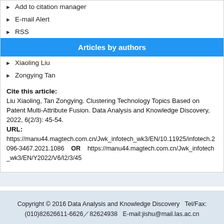Add to citation manager
E-mail Alert
RSS
Articles by authors
Xiaoling Liu
Zongying Tan
Cite this article: Liu Xiaoling, Tan Zongying. Clustering Technology Topics Based on Patent Multi-Attribute Fusion. Data Analysis and Knowledge Discovery, 2022, 6(2/3): 45-54.
URL:
https://manu44.magtech.com.cn/Jwk_infotech_wk3/EN/10.11925/infotech.2096-3467.2021.1086    OR    https://manu44.magtech.com.cn/Jwk_infotech_wk3/EN/Y2022/V6/I2/3/45
Copyright © 2016 Data Analysis and Knowledge Discovery   Tel/Fax:(010)82626611-6626／82624938   E-mail:jishu@mail.las.ac.cn